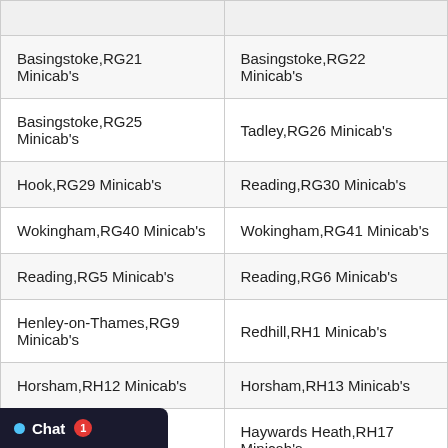| Basingstoke,RG21 Minicab's | Basingstoke,RG22 Minicab's |
| Basingstoke,RG25 Minicab's | Tadley,RG26 Minicab's |
| Hook,RG29 Minicab's | Reading,RG30 Minicab's |
| Wokingham,RG40 Minicab's | Wokingham,RG41 Minicab's |
| Reading,RG5 Minicab's | Reading,RG6 Minicab's |
| Henley-on-Thames,RG9 Minicab's | Redhill,RH1 Minicab's |
| Horsham,RH12 Minicab's | Horsham,RH13 Minicab's |
| Ha...RH16 Minicab's | Haywards Heath,RH17 Minicab's |
| Re...ab's | Pulborough,RH20 Minicab's |
| Do...ab's | Horley,RH6 Minicab's |
| Go...icab's | Romford,RM1 Minicab's |
| ...rch,RM12 Minicab's | Rainham,RM13 Minicab's |